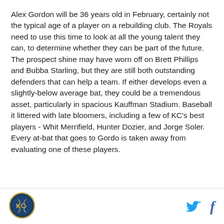Alex Gordon will be 36 years old in February, certainly not the typical age of a player on a rebuilding club. The Royals need to use this time to look at all the young talent they can, to determine whether they can be part of the future. The prospect shine may have worn off on Brett Phillips and Bubba Starling, but they are still both outstanding defenders that can help a team. If either develops even a slightly-below average bat, they could be a tremendous asset, particularly in spacious Kauffman Stadium. Baseball it littered with late bloomers, including a few of KC's best players - Whit Merrifield, Hunter Dozier, and Jorge Soler. Every at-bat that goes to Gordo is taken away from evaluating one of these players.
[Figure (logo): Kansas City Royals logo - circular emblem with navy blue and gold]